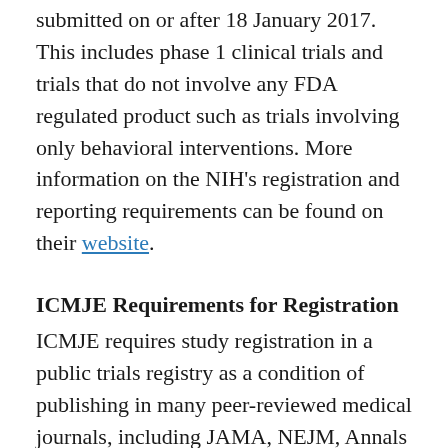submitted on or after 18 January 2017. This includes phase 1 clinical trials and trials that do not involve any FDA regulated product such as trials involving only behavioral interventions. More information on the NIH's registration and reporting requirements can be found on their website.
ICMJE Requirements for Registration
ICMJE requires study registration in a public trials registry as a condition of publishing in many peer-reviewed medical journals, including JAMA, NEJM, Annals of Internal Medicine, Lancet, etc. A study requires registration for ICMJE purposes if the following three criteria are met: (1) prospective assignment; (2) to a health-related intervention; (3) to study the cause-and-effect relationship between a health-related intervention